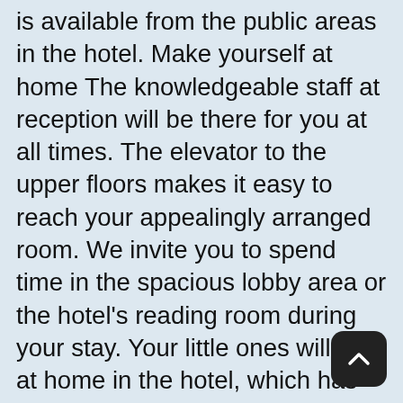is available from the public areas in the hotel. Make yourself at home The knowledgeable staff at reception will be there for you at all times. The elevator to the upper floors makes it easy to reach your appealingly arranged room. We invite you to spend time in the spacious lobby area or the hotel's reading room during your stay. Your little ones will feel at home in the hotel, which has its own play area. Children or the entire family can be accommodated in non-smoking rooms. Please indicate your preference when making your booking. Culinary greetings from the kitchen Our hotel also serves vegetarian meals. The hotel also has diabetic-friendly dining. Halal foods and Kosher meals are available in the restaurant at our hotel. Where you will stay There is an air-conditioning-system in each room. In-room entertainment will be provided by a TV featuring cable channels. Satel TV is a standard comfort provided in each of the